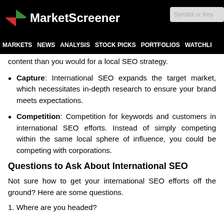MarketScreener — MARKETS NEWS ANALYSIS STOCK PICKS PORTFOLIOS WATCHLI
content than you would for a local SEO strategy.
Capture: International SEO expands the target market, which necessitates in-depth research to ensure your brand meets expectations.
Competition: Competition for keywords and customers in international SEO efforts. Instead of simply competing within the same local sphere of influence, you could be competing with corporations.
Questions to Ask About International SEO
Not sure how to get your international SEO efforts off the ground? Here are some questions.
1. Where are you headed?